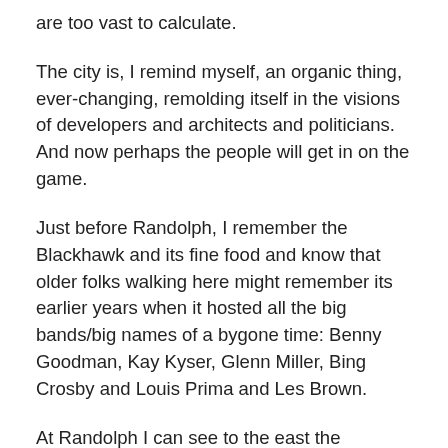are too vast to calculate.
The city is, I remind myself, an organic thing, ever-changing, remolding itself in the visions of developers and architects and politicians. And now perhaps the people will get in on the game.
Just before Randolph, I remember the Blackhawk and its fine food and know that older folks walking here might remember its earlier years when it hosted all the big bands/big names of a bygone time: Benny Goodman, Kay Kyser, Glenn Miller, Bing Crosby and Louis Prima and Les Brown.
At Randolph I can see to the east the Prudential Building that now houses the offices of the Tribune and in a couple of more blocks I can see where the Tribune once was, in a Tower now turning slowly into million-dollar condominiums